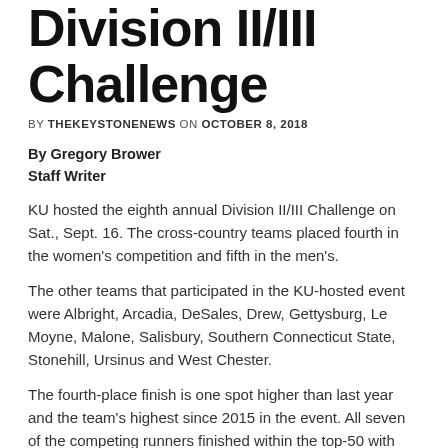Division II/III Challenge
BY THEKEYSTONENEWS ON OCTOBER 8, 2018
By Gregory Brower
Staff Writer
KU hosted the eighth annual Division II/III Challenge on Sat., Sept. 16. The cross-country teams placed fourth in the women's competition and fifth in the men's.
The other teams that participated in the KU-hosted event were Albright, Arcadia, DeSales, Drew, Gettysburg, Le Moyne, Malone, Salisbury, Southern Connecticut State, Stonehill, Ursinus and West Chester.
The fourth-place finish is one spot higher than last year and the team's highest since 2015 in the event. All seven of the competing runners finished within the top-50 with junior Amanda Ferraro finishing in 20th to lead all Golden Bear runners. Sophomore Sarah Shannon finished just 24...